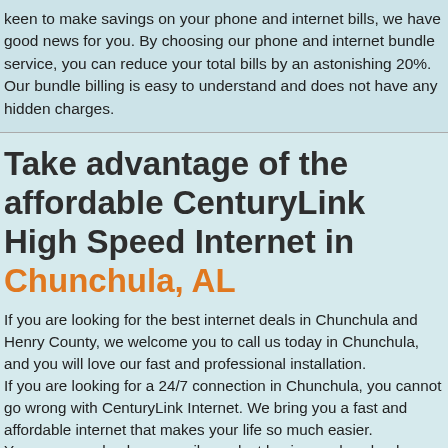keen to make savings on your phone and internet bills, we have good news for you. By choosing our phone and internet bundle service, you can reduce your total bills by an astonishing 20%. Our bundle billing is easy to understand and does not have any hidden charges.
Take advantage of the affordable CenturyLink High Speed Internet in Chunchula, AL
If you are looking for the best internet deals in Chunchula and Henry County, we welcome you to call us today in Chunchula, and you will love our fast and professional installation. If you are looking for a 24/7 connection in Chunchula, you cannot go wrong with CenturyLink Internet. We bring you a fast and affordable internet that makes your life so much easier. You can now check your mail, conduct business, download movies or even stream live media without any worries because